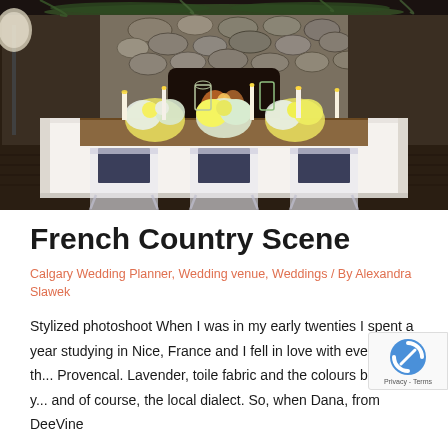[Figure (photo): Indoor wedding table setting in a rustic lodge with stone fireplace. Long rectangular table with white tablecloth, clear acrylic ghost chairs draped with navy blue fabric, yellow and white floral centerpieces, candles and bird cage decorations, stone fireplace with greenery garland in background.]
French Country Scene
Calgary Wedding Planner, Wedding venue, Weddings / By Alexandra Slawek
Stylized photoshoot When I was in my early twenties I spent a year studying in Nice, France and I fell in love with everything th... Provencal. Lavender, toile fabric and the colours blue and y... and of course, the local dialect. So, when Dana, from DeeVine